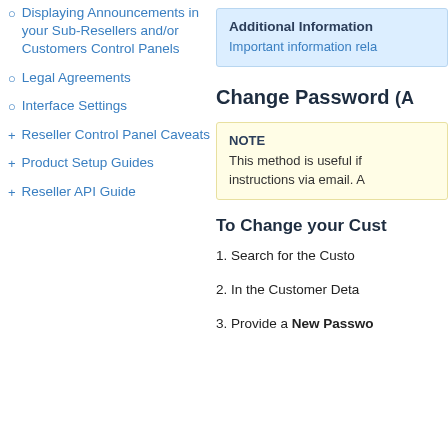Displaying Announcements in your Sub-Resellers and/or Customers Control Panels
Legal Agreements
Interface Settings
Reseller Control Panel Caveats
Product Setup Guides
Reseller API Guide
Additional Information
Important information rela...
Change Password (A...
NOTE
This method is useful if... instructions via email. A...
To Change your Cust...
1. Search for the Custo...
2. In the Customer Deta...
3. Provide a New Passwo...